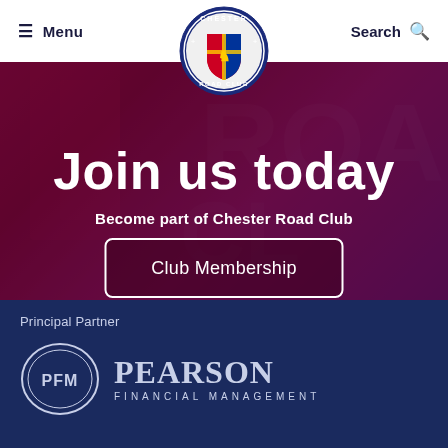Menu | Chester Road Club | Search
[Figure (logo): Chester Road Club circular badge logo with lion and shield crest, blue border with text CHESTER ROAD CLUB]
Join us today
Become part of Chester Road Club
Club Membership
Principal Partner
[Figure (logo): PFM Pearson Financial Management logo — circular PFM emblem on left, PEARSON FINANCIAL MANAGEMENT text on right, white on dark navy background]